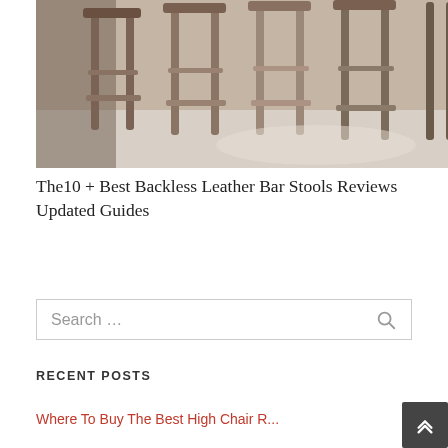[Figure (photo): Sepia-toned photo of multiple backless wooden bar stools/counter stools in a row, viewed from the side, showing legs and footrests on a light floor.]
The10 + Best Backless Leather Bar Stools Reviews Updated Guides
Search …
RECENT POSTS
Where To Buy The Best High Chair R...